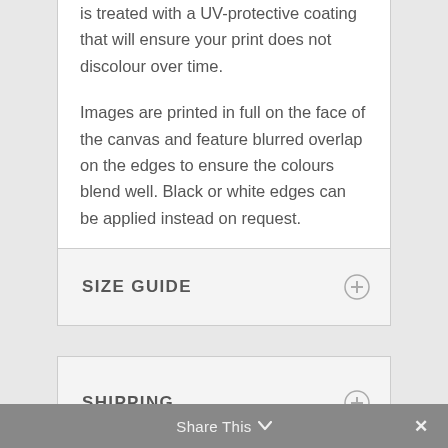is treated with a UV-protective coating that will ensure your print does not discolour over time.

Images are printed in full on the face of the canvas and feature blurred overlap on the edges to ensure the colours blend well. Black or white edges can be applied instead on request.
SIZE GUIDE
SHIPPING
Share This ∨  ✕